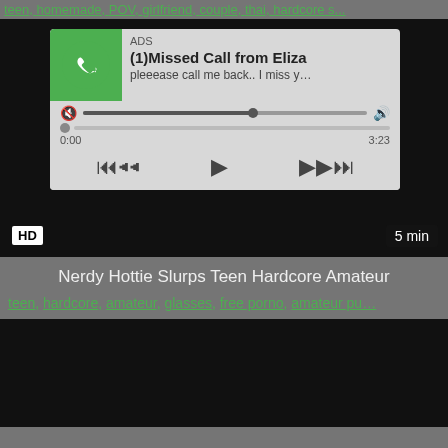teen, homemade, POV, girlfriend, couple, thai, hardcore s...
[Figure (screenshot): Video player with advertisement overlay showing WhatsApp-style missed call notification from Eliza with audio controls]
Nerdy Hottie Slurps Teen Hardcore Amateur
teen, hardcore, amateur, glasses, free porno, amateur pu...
[Figure (screenshot): Dark video thumbnail at bottom of page]